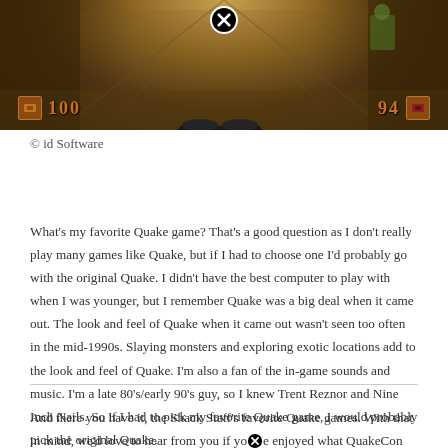[Figure (screenshot): Screenshot from the original Quake game showing first-person perspective with HUD elements showing score 1000 on left and 94 on right, with a close/X button overlay at the top center]
© id Software
What's my favorite Quake game? That's a good question as I don't really play many games like Quake, but if I had to choose one I'd probably go with the original Quake. I didn't have the best computer to play with when I was younger, but I remember Quake was a big deal when it came out. The look and feel of Quake when it came out wasn't seen too often in the mid-1990s. Slaying monsters and exploring exotic locations add to the look and feel of Quake. I'm also a fan of the in-game sounds and music. I'm a late 80's/early 90's guy, so I knew Trent Reznor and Nine Inch Nails. So if I had to pick my favorite Quake game, I would probably pick the original Quake.
And there you have it, the Shack Staff's favorite Quake games. With that in mind, we'd love to hear from you if you enjoyed what QuakeCon 2022 has